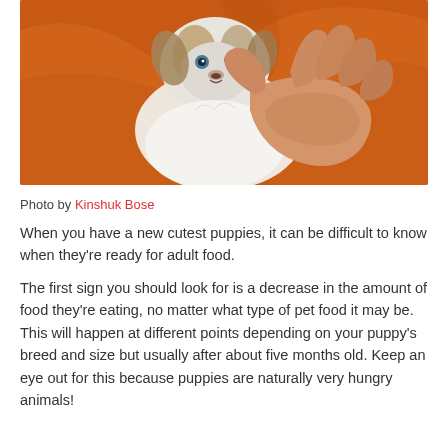[Figure (photo): Close-up photo of a tiny puppy being held in a human hand against an orange blanket background. The puppy is small, fluffy, with grey-blue eyes and white and tan fur.]
Photo by Kinshuk Bose
When you have a new cutest puppies, it can be difficult to know when they're ready for adult food.
The first sign you should look for is a decrease in the amount of food they're eating, no matter what type of pet food it may be. This will happen at different points depending on your puppy's breed and size but usually after about five months old. Keep an eye out for this because puppies are naturally very hungry animals!